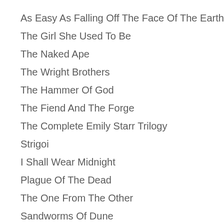As Easy As Falling Off The Face Of The Earth
The Girl She Used To Be
The Naked Ape
The Wright Brothers
The Hammer Of God
The Fiend And The Forge
The Complete Emily Starr Trilogy
Strigoi
I Shall Wear Midnight
Plague Of The Dead
The One From The Other
Sandworms Of Dune
The Knitting Circle
The Awakened Mage